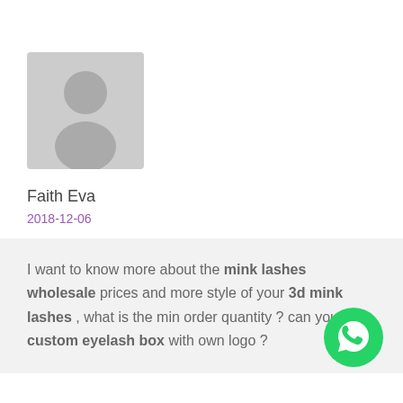[Figure (illustration): Gray placeholder avatar icon showing a generic person silhouette]
Faith Eva
2018-12-06
I want to know more about the mink lashes wholesale prices and more style of your 3d mink lashes , what is the min order quantity ? can you custom eyelash box with own logo ?
[Figure (logo): WhatsApp green circular button icon]